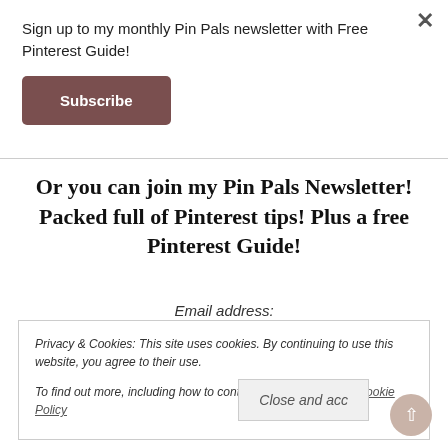Sign up to my monthly Pin Pals newsletter with Free Pinterest Guide!
Subscribe
Or you can join my Pin Pals Newsletter! Packed full of Pinterest tips! Plus a free Pinterest Guide!
Email address:
Privacy & Cookies: This site uses cookies. By continuing to use this website, you agree to their use.
To find out more, including how to control cookies, see here: Cookie Policy
Close and acc